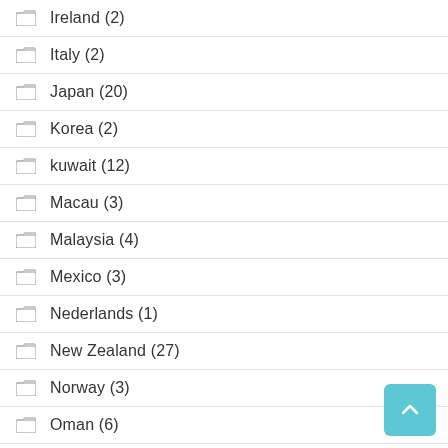Ireland (2)
Italy (2)
Japan (20)
Korea (2)
kuwait (12)
Macau (3)
Malaysia (4)
Mexico (3)
Nederlands (1)
New Zealand (27)
Norway (3)
Oman (6)
Philipinnes (1)
Poland (17)
Portugal (2)